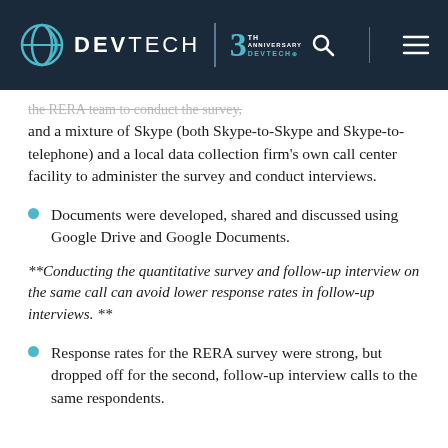DEVTECH | 30TH ANNIVERSARY DEVTECH
the RERA team to conduct the survey, and a mixture of Skype (both Skype-to-Skype and Skype-to-telephone) and a local data collection firm's own call center facility to administer the survey and conduct interviews.
Documents were developed, shared and discussed using Google Drive and Google Documents.
**Conducting the quantitative survey and follow-up interview on the same call can avoid lower response rates in follow-up interviews. **
Response rates for the RERA survey were strong, but dropped off for the second, follow-up interview calls to the same respondents.